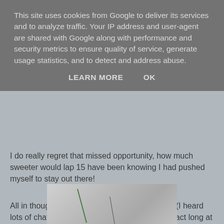This site uses cookies from Google to deliver its services and to analyze traffic. Your IP address and user-agent are shared with Google along with performance and security metrics to ensure quality of service, generate usage statistics, and to detect and address abuse.
LEARN MORE    OK
I do really regret that missed opportunity, how much sweeter would lap 15 have been knowing I had pushed myself to stay out there!
All in though very pleased with at least 140KM (I heard lots of chatter that suggested the laps were in fact long at closer to 6.5 miles / 10.53 KM, perhaps wishful thinking as that would take my total to 91 miles).
[Figure (photo): Partial photo of what appears to be a tent or fabric structure, visible at the bottom of the page]